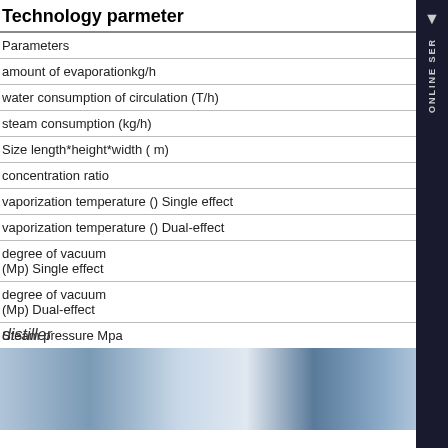Technology parmeter
| Parameters |
| --- |
| amount of evaporationkg/h |
| water consumption of circulation  (T/h) |
| steam consumption (kg/h) |
| Size length*height*width  ( m) |
| concentration ratio |
| vaporization temperature () Single effect |
| vaporization temperature () Dual-effect |
| degree of vacuum
(Mp) Single effect |
| degree of vacuum
(Mp) Dual-effect |
| Steam pressure  Mpa |
distiller
[Figure (photo): Industrial distiller equipment photograph]